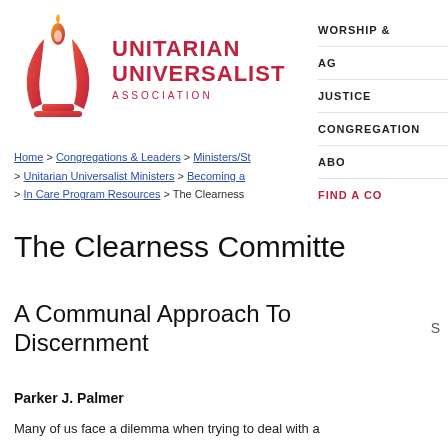[Figure (logo): Unitarian Universalist Association logo with flame chalice icon and red text]
WORSHIP &
AG
JUSTICE
CONGREGATION
ABO
FIND A CO
Home > Congregations & Leaders > Ministers/St > Unitarian Universalist Ministers > Becoming a > In Care Program Resources > The Clearness
The Clearness Committe
A Communal Approach To Discernment
Parker J. Palmer
Many of us face a dilemma when trying to deal with a